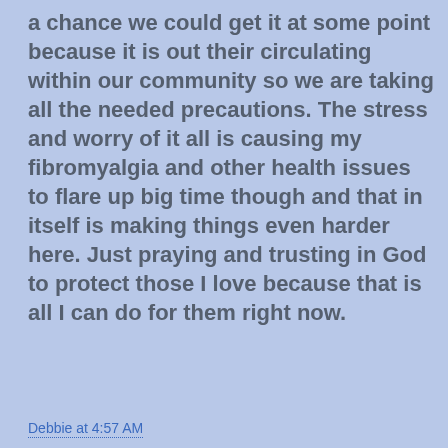a chance we could get it at some point because it is out their circulating within our community so we are taking all the needed precautions.  The stress and worry of it all is causing my fibromyalgia and other health issues to flare up big time though and that in itself is making things even harder here.  Just praying and trusting in God to protect those I love because that is all I can do for them right now.
Debbie at 4:57 AM